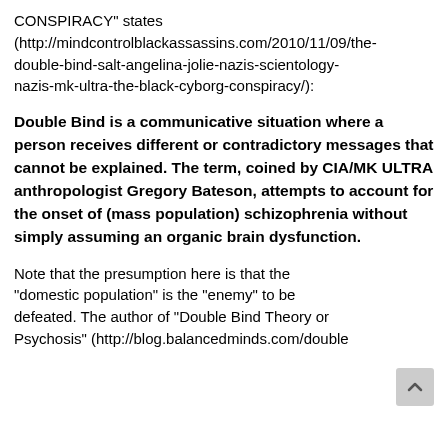CONSPIRACY" states (http://mindcontrolblackassassins.com/2010/11/09/the-double-bind-salt-angelina-jolie-nazis-scientology-nazis-mk-ultra-the-black-cyborg-conspiracy/):
Double Bind is a communicative situation where a person receives different or contradictory messages that cannot be explained. The term, coined by CIA/MK ULTRA anthropologist Gregory Bateson, attempts to account for the onset of (mass population) schizophrenia without simply assuming an organic brain dysfunction.
Note that the presumption here is that the “domestic population” is the “enemy” to be defeated. The author of “Double Bind Theory or Psychosis” (http://blog.balancedminds.com/double